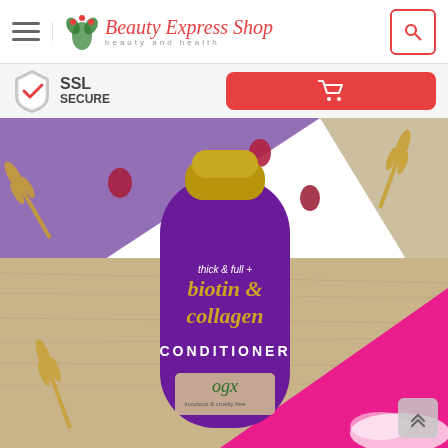Beauty Express Shop — beauty and health
SSL SECURE
[Figure (photo): OGX thick & full + biotin & collagen conditioner bottle on a purple, wood, and pink background with wheat and red berry decorations]